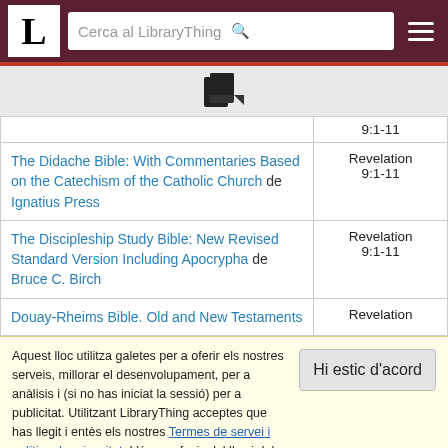LibraryThing - Cerca al LibraryThing
[Figure (logo): LibraryThing logo with letter L and a book/file icon]
| Book | Reference |
| --- | --- |
| (partial row) | 9:1-11 |
| The Didache Bible: With Commentaries Based on the Catechism of the Catholic Church de Ignatius Press | Revelation 9:1-11 |
| The Discipleship Study Bible: New Revised Standard Version Including Apocrypha de Bruce C. Birch | Revelation 9:1-11 |
| Douay-Rheims Bible. Old and New Testaments | Revelation |
Aquest lloc utilitza galetes per a oferir els nostres serveis, millorar el desenvolupament, per a anàlisis i (si no has iniciat la sessió) per a publicitat. Utilitzant LibraryThing acceptes que has llegit i entès els nostres Termes de servei i política de privacitat. L'ús que facis del lloc i dels seus serveis està subjecte a aquestes polítiques i termes.